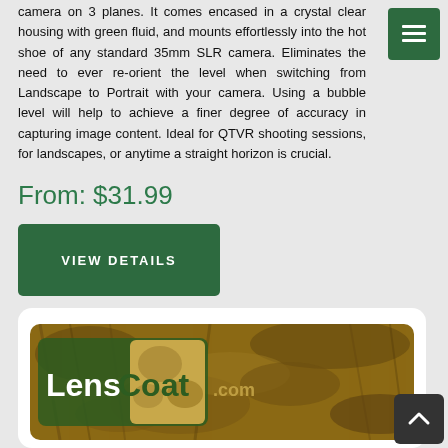camera on 3 planes. It comes encased in a crystal clear housing with green fluid, and mounts effortlessly into the hot shoe of any standard 35mm SLR camera. Eliminates the need to ever re-orient the level when switching from Landscape to Portrait with your camera. Using a bubble level will help to achieve a finer degree of accuracy in capturing image content. Ideal for QTVR shooting sessions, for landscapes, or anytime a straight horizon is crucial.
From: $31.99
VIEW DETAILS
[Figure (logo): LensCoat.com logo on a camouflage background card]